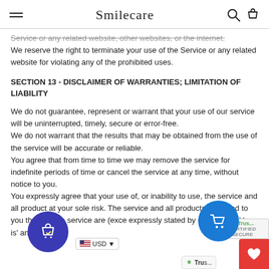Smilecare
Service or any related website, other websites, or the internet. We reserve the right to terminate your use of the Service or any related website for violating any of the prohibited uses.
SECTION 13 - DISCLAIMER OF WARRANTIES; LIMITATION OF LIABILITY
We do not guarantee, represent or warrant that your use of our service will be uninterrupted, timely, secure or error-free. We do not warrant that the results that may be obtained from the use of the service will be accurate or reliable. You agree that from time to time we may remove the service for indefinite periods of time or cancel the service at any time, without notice to you. You expressly agree that your use of, or inability to use, the service is at your sole risk. The service and all products delivered to you through the service are (except as expressly stated by us) provided 'as is' and 'as available'...